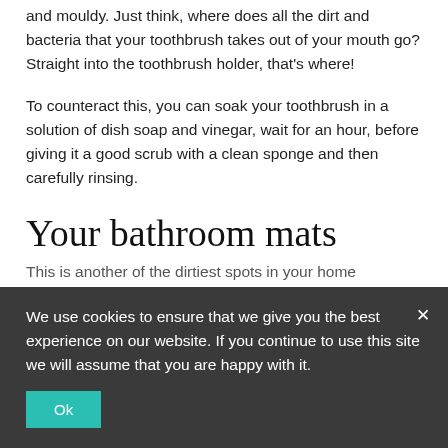and mouldy. Just think, where does all the dirt and bacteria that your toothbrush takes out of your mouth go? Straight into the toothbrush holder, that's where!
To counteract this, you can soak your toothbrush in a solution of dish soap and vinegar, wait for an hour, before giving it a good scrub with a clean sponge and then carefully rinsing.
Your bathroom mats
This is another of the dirtiest spots in your home
We use cookies to ensure that we give you the best experience on our website. If you continue to use this site we will assume that you are happy with it.
Ok